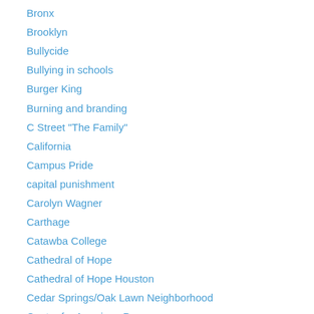Bronx
Brooklyn
Bullycide
Bullying in schools
Burger King
Burning and branding
C Street "The Family"
California
Campus Pride
capital punishment
Carolyn Wagner
Carthage
Catawba College
Cathedral of Hope
Cathedral of Hope Houston
Cedar Springs/Oak Lawn Neighborhood
Center for American Progress
Center for Anti-Violence Education (CAE)
Center for Constitutional Rights (CCR)
Center for Homicide Research